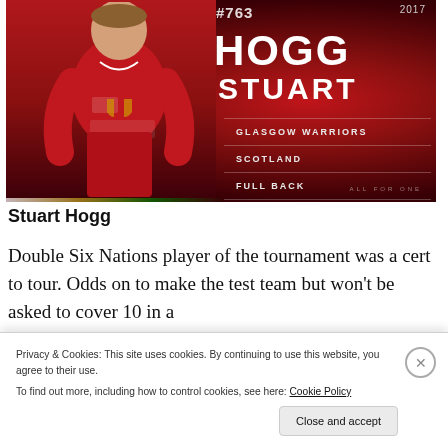[Figure (photo): British & Irish Lions player card for Stuart Hogg (#763, 2017). Red background with player in red jersey. Shows name HOGG / STUART, club GLASGOW WARRIORS, nation SCOTLAND, position FULL BACK. Tagline ALL FOR ONE.]
Stuart Hogg
Double Six Nations player of the tournament was a cert to tour. Odds on to make the test team but won't be asked to cover 10 in a
Privacy & Cookies: This site uses cookies. By continuing to use this website, you agree to their use.
To find out more, including how to control cookies, see here: Cookie Policy
Close and accept